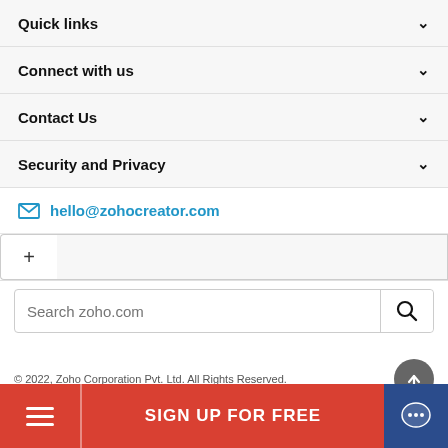Quick links
Connect with us
Contact Us
Security and Privacy
hello@zohocreator.com
Search zoho.com
© 2022, Zoho Corporation Pvt. Ltd. All Rights Reserved.
SIGN UP FOR FREE